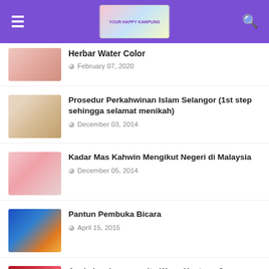Website header with hamburger menu, logo, and search icon
Herbal Water Color — February 07, 2020
Prosedur Perkahwinan Islam Selangor (1st step sehingga selamat menikah) — December 03, 2014
Kadar Mas Kahwin Mengikut Negeri di Malaysia — December 05, 2014
Pantun Pembuka Bicara — April 15, 2015
Apakah sebenarnya itu Wang Hantaran? — December 05, 2014